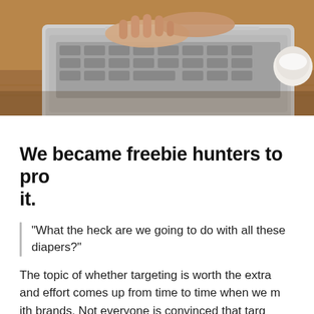[Figure (photo): Person's hands typing on a laptop keyboard placed on a wooden desk, with a white cup visible in the upper right corner. Close-up shot from above.]
We became freebie hunters to prove it.
"What the heck are we going to do with all these diapers?"
The topic of whether targeting is worth the extra and effort comes up from time to time when we m ith brands. Not everyone is convinced that targ the ways to go all the time. For example, P&G h